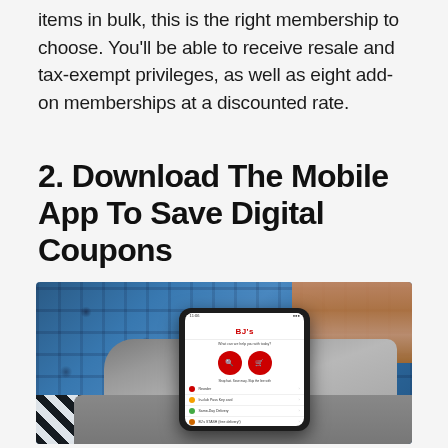items in bulk, this is the right membership to choose. You'll be able to receive resale and tax-exempt privileges, as well as eight add-on memberships at a discounted rate.
2. Download The Mobile App To Save Digital Coupons
[Figure (photo): Person sitting on a couch wearing blue plaid pants, holding a smartphone displaying the BJ's Wholesale Club mobile app interface showing navigation options including a search button and cart button, with Reorder, In-club Pass Key, Same-Day Delivery, and BJ's STASH menu items visible.]